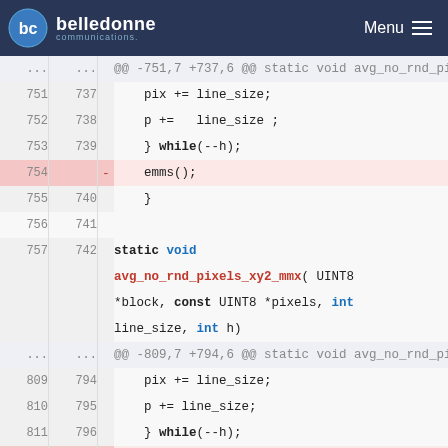belledonne communications — Menu
[Figure (screenshot): Code diff view showing removal of emms() calls from avg_no_rnd_pixels_y2_mmx and avg_no_rnd_pixels_xy2_mmx functions in a C source file. Lines 754 and 812 (emms();) are highlighted in red as removed lines.]